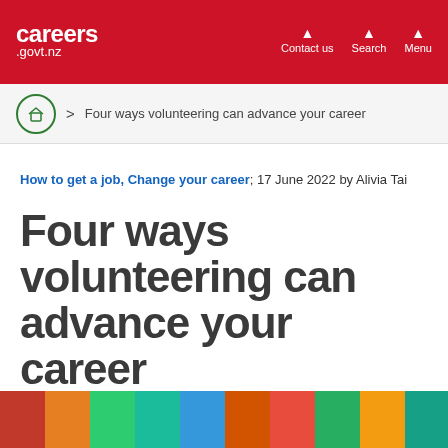careers .govt.nz — Contact us | Search | Menu
Home > Four ways volunteering can advance your career
How to get a job, Change your career; 17 June 2022 by Alivia Tai
Four ways volunteering can advance your career
[Figure (photo): Colourful photo strip showing volunteers in various activities]